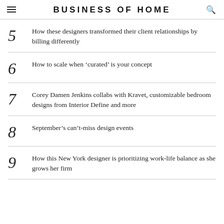BUSINESS OF HOME
5 How these designers transformed their client relationships by billing differently
6 How to scale when 'curated' is your concept
7 Corey Damen Jenkins collabs with Kravet, customizable bedroom designs from Interior Define and more
8 September's can't-miss design events
9 How this New York designer is prioritizing work-life balance as she grows her firm